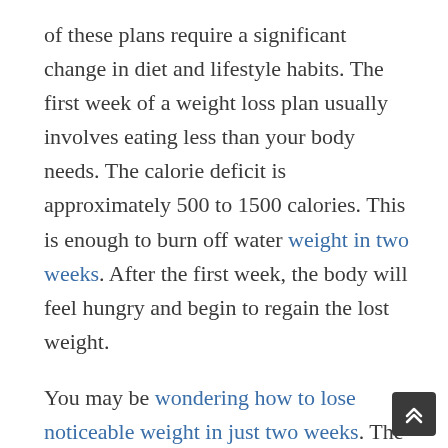of these plans require a significant change in diet and lifestyle habits. The first week of a weight loss plan usually involves eating less than your body needs. The calorie deficit is approximately 500 to 1500 calories. This is enough to burn off water weight in two weeks. After the first week, the body will feel hungry and begin to regain the lost weight.
You may be wondering how to lose noticeable weight in just two weeks. The National Institutes of Health recommend that you aim to lose about one to two pounds a week. If you follow a diet and exercise plan you could easily lose up to one kilogram in two